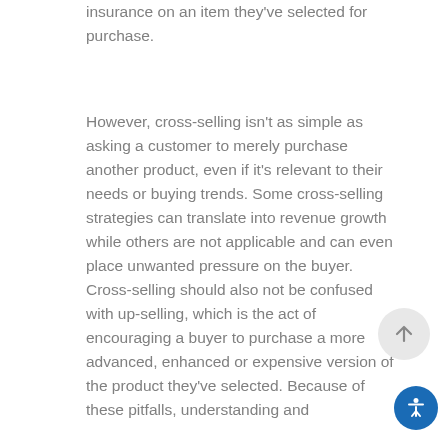insurance on an item they've selected for purchase.
However, cross-selling isn't as simple as asking a customer to merely purchase another product, even if it's relevant to their needs or buying trends. Some cross-selling strategies can translate into revenue growth while others are not applicable and can even place unwanted pressure on the buyer. Cross-selling should also not be confused with up-selling, which is the act of encouraging a buyer to purchase a more advanced, enhanced or expensive version of the product they've selected. Because of these pitfalls, understanding and